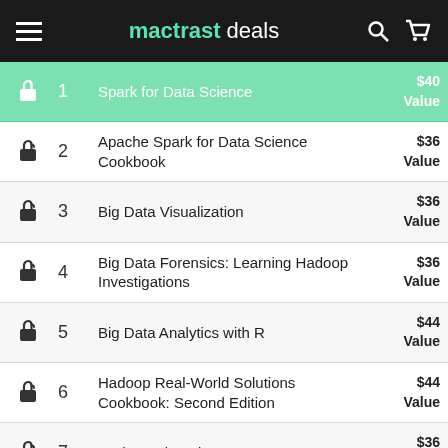mactrast deals
|  | # | Title | Value |
| --- | --- | --- | --- |
| 🔓 | 1 | Spark for Data Science | $40 Value |
| 🔓 | 2 | Apache Spark for Data Science Cookbook | $36 Value |
| 🔓 | 3 | Big Data Visualization | $36 Value |
| 🔓 | 4 | Big Data Forensics: Learning Hadoop Investigations | $36 Value |
| 🔓 | 5 | Big Data Analytics with R | $44 Value |
| 🔓 | 6 | Hadoop Real-World Solutions Cookbook: Second Edition | $44 Value |
| 🔓 | 7 | Hadoop Blueprints | $36 Value |
| 🔓 | 8 | Deep Learning with Hadoop | $32 Value |